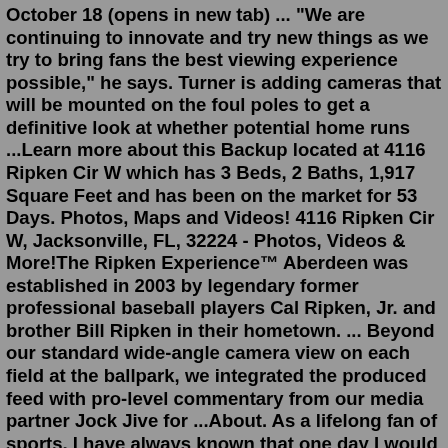October 18 (opens in new tab) ... "We are continuing to innovate and try new things as we try to bring fans the best viewing experience possible," he says. Turner is adding cameras that will be mounted on the foul poles to get a definitive look at whether potential home runs ...Learn more about this Backup located at 4116 Ripken Cir W which has 3 Beds, 2 Baths, 1,917 Square Feet and has been on the market for 53 Days. Photos, Maps and Videos! 4116 Ripken Cir W, Jacksonville, FL, 32224 - Photos, Videos & More!The Ripken Experience™ Aberdeen was established in 2003 by legendary former professional baseball players Cal Ripken, Jr. and brother Bill Ripken in their hometown. ... Beyond our standard wide-angle camera view on each field at the ballpark, we integrated the produced feed with pro-level commentary from our media partner Jock Jive for ...About. As a lifelong fan of sports, I have always known that one day I would make a career for myself in the industry. Having spent my years at Emerson College exploring what this may look like ...This site